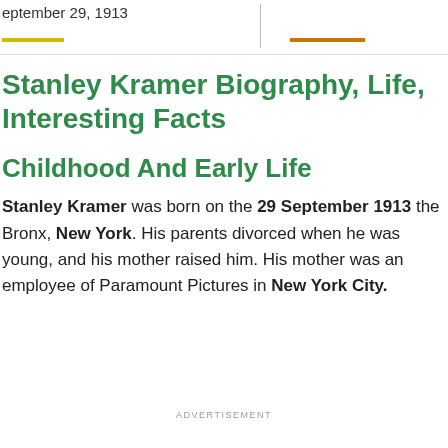September 29, 1913
Stanley Kramer Biography, Life, Interesting Facts
Childhood And Early Life
Stanley Kramer was born on the 29 September 1913 the Bronx, New York. His parents divorced when he was young, and his mother raised him. His mother was an employee of Paramount Pictures in New York City.
ADVERTISEMENT